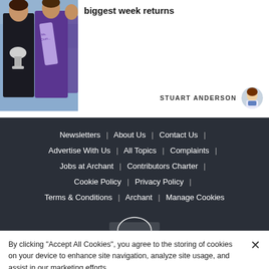[Figure (photo): Photo of a woman holding a trophy with others wearing purple sashes in background, likely a competition winner]
biggest week returns
STUART ANDERSON
[Figure (photo): Small circular portrait photo of Stuart Anderson]
Newsletters | About Us | Contact Us | Advertise With Us | All Topics | Complaints | Jobs at Archant | Contributors Charter | Cookie Policy | Privacy Policy | Terms & Conditions | Archant | Manage Cookies
[Figure (logo): Partial logo visible at bottom of dark footer area]
By clicking "Accept All Cookies", you agree to the storing of cookies on your device to enhance site navigation, analyze site usage, and assist in our marketing efforts.
Cookies Settings
Accept All Cookies